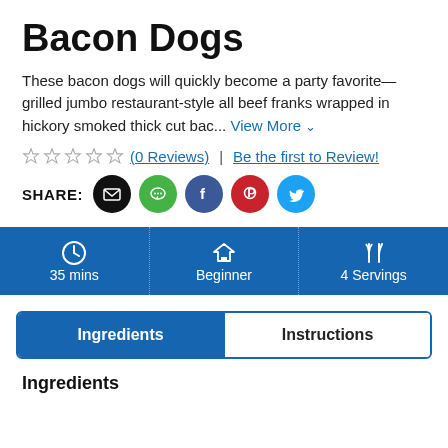Bacon Dogs
These bacon dogs will quickly become a party favorite—grilled jumbo restaurant-style all beef franks wrapped in hickory smoked thick cut bac... View More
☆ ☆ ☆ ☆ ☆ (0 Reviews) | Be the first to Review!
SHARE:
[Figure (infographic): Info bar with three cells: 35 mins (clock icon), Beginner (graduation cap icon), 4 Servings (fork and knife icon), all on blue background]
Ingredients | Instructions (tab buttons)
Ingredients